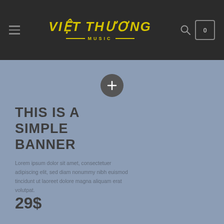Việt Thương Music - navigation header with hamburger menu, logo, search and cart icons
[Figure (other): Plus/add button circle icon in the banner area]
THIS IS A SIMPLE BANNER
Lorem ipsum dolor sit amet, consectetuer adipiscing elit, sed diam nonummy nibh euismod tincidunt ut laoreet dolore magna aliquam erat volutpat.
29$